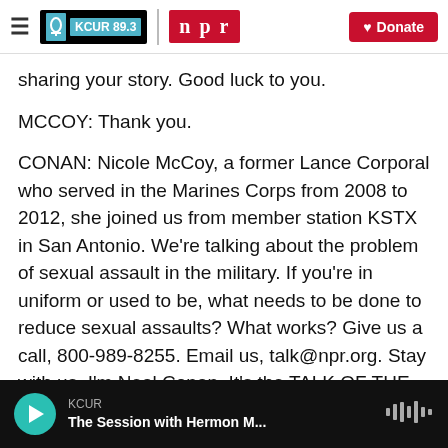KCUR 89.3 | npr | Donate
sharing your story. Good luck to you.
MCCOY: Thank you.
CONAN: Nicole McCoy, a former Lance Corporal who served in the Marines Corps from 2008 to 2012, she joined us from member station KSTX in San Antonio. We're talking about the problem of sexual assault in the military. If you're in uniform or used to be, what needs to be done to reduce sexual assaults? What works? Give us a call, 800-989-8255. Email us, talk@npr.org. Stay with us. I'm Neal Conan. It's the TALK OF THE NATION from NPR
KCUR — The Session with Hermon M...